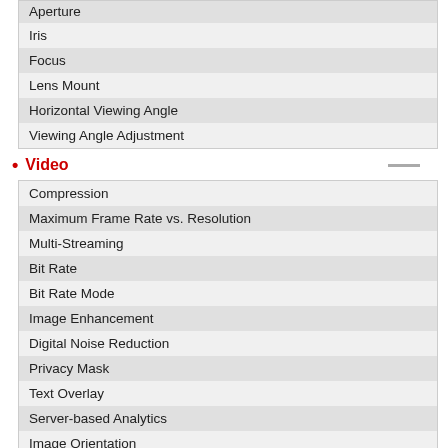| Aperture |
| Iris |
| Focus |
| Lens Mount |
| Horizontal Viewing Angle |
| Viewing Angle Adjustment |
Video
| Compression |
| Maximum Frame Rate vs. Resolution |
| Multi-Streaming |
| Bit Rate |
| Bit Rate Mode |
| Image Enhancement |
| Digital Noise Reduction |
| Privacy Mask |
| Text Overlay |
| Server-based Analytics |
| Image Orientation |
Audio
| Audio Type |